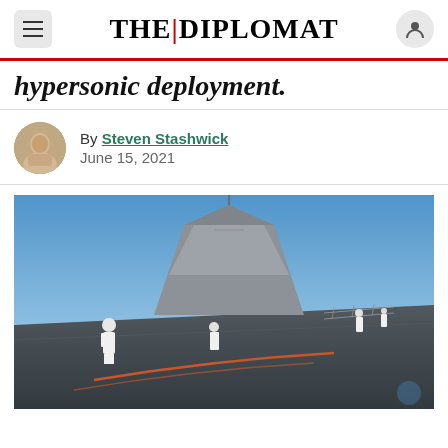THE DIPLOMAT
hypersonic deployment.
By Steven Stashwick
June 15, 2021
[Figure (photo): Naval personnel in white uniforms standing on the deck of a modern warship with a distinctive angular stealth superstructure, photographed against a clear blue sky and calm sea.]